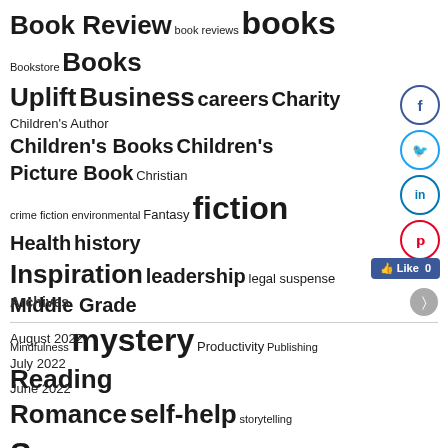[Figure (infographic): Tag cloud with terms related to books, writing, and publishing in varying font sizes]
Archives
August 2022
July 2022
June 2022